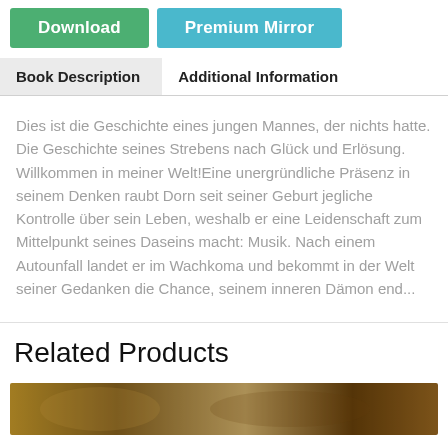[Figure (other): Two buttons: green 'Download' button and blue 'Premium Mirror' button]
Book Description	Additional Information
Dies ist die Geschichte eines jungen Mannes, der nichts hatte. Die Geschichte seines Strebens nach Glück und Erlösung. Willkommen in meiner Welt!Eine unergründliche Präsenz in seinem Denken raubt Dorn seit seiner Geburt jegliche Kontrolle über sein Leben, weshalb er eine Leidenschaft zum Mittelpunkt seines Daseins macht: Musik. Nach einem Autounfall landet er im Wachkoma und bekommt in der Welt seiner Gedanken die Chance, seinem inneren Dämon end...
Related Products
[Figure (photo): Partial image of a book cover or related product, showing a decorative/artistic image in brown/golden tones]